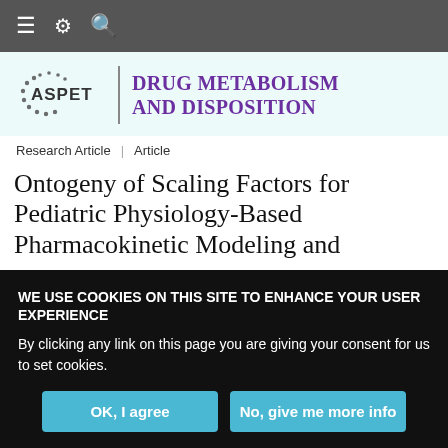Navigation bar with menu, settings, and search icons
[Figure (logo): ASPET | Drug Metabolism and Disposition journal logo with ASPET circular dotted emblem and purple journal title text]
Research Article | Article
Ontogeny of Scaling Factors for Pediatric Physiology-Based Pharmacokinetic Modeling and
WE USE COOKIES ON THIS SITE TO ENHANCE YOUR USER EXPERIENCE

By clicking any link on this page you are giving your consent for us to set cookies.

OK, I agree | No, give me more info